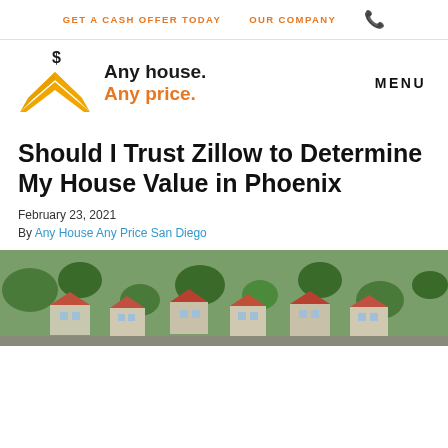GET A CASH OFFER TODAY   OUR COMPANY
[Figure (logo): Any House Any Price logo with yellow chevron/roof icon and dollar sign, with text 'Any house. Any price.']
Should I Trust Zillow to Determine My House Value in Phoenix
February 23, 2021
By Any House Any Price San Diego
[Figure (photo): Aerial photograph of residential neighborhood with houses and trees viewed from above]